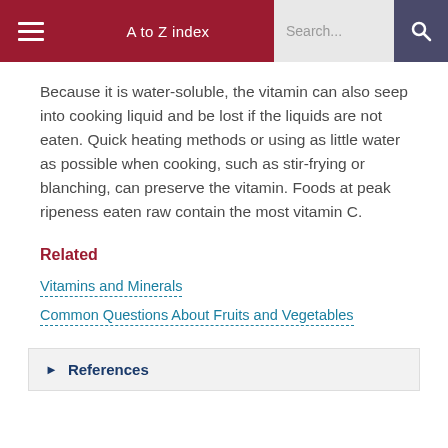A to Z index  Search...
Because it is water-soluble, the vitamin can also seep into cooking liquid and be lost if the liquids are not eaten. Quick heating methods or using as little water as possible when cooking, such as stir-frying or blanching, can preserve the vitamin. Foods at peak ripeness eaten raw contain the most vitamin C.
Related
Vitamins and Minerals
Common Questions About Fruits and Vegetables
References